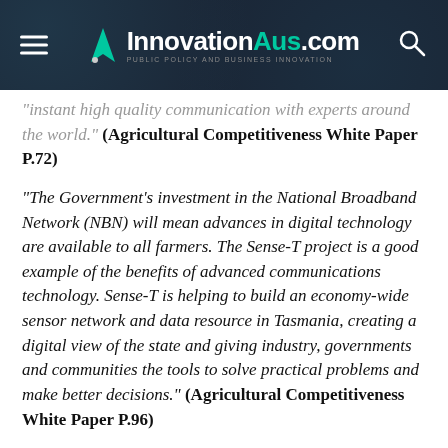InnovationAus.com — PUBLIC POLICY AND BUSINESS INNOVATION
“instant high quality communication with experts around the world.” (Agricultural Competitiveness White Paper P.72)
“The Government’s investment in the National Broadband Network (NBN) will mean advances in digital technology are available to all farmers. The Sense-T project is a good example of the benefits of advanced communications technology. Sense-T is helping to build an economy-wide sensor network and data resource in Tasmania, creating a digital view of the state and giving industry, governments and communities the tools to solve practical problems and make better decisions.” (Agricultural Competitiveness White Paper P.96)